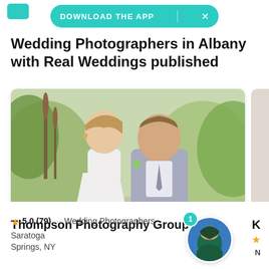[Figure (screenshot): Teal rounded rectangle app download banner with 'DOWNLOAD THE APP' text and X close button]
Wedding Photographers in Albany with Real Weddings published
[Figure (photo): Wedding couple photo: bride in white dress holding bouquet and groom in light gray suit standing together outdoors among wildflowers and greenery]
Thompson Photography Group
5.0 (79) · Wedding Photographers · Saratoga Springs, NY
[Figure (illustration): Avatar circle with illustrated woman in teal/dark clothing with notification badge showing '1']
K
N